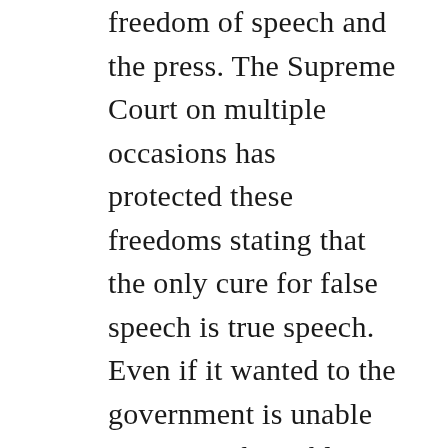freedom of speech and the press. The Supreme Court on multiple occasions has protected these freedoms stating that the only cure for false speech is true speech. Even if it wanted to the government is unable to protect the public from fake news because of the strong prohibition on any limitations of speech by the government. The same prohibition does not apply to